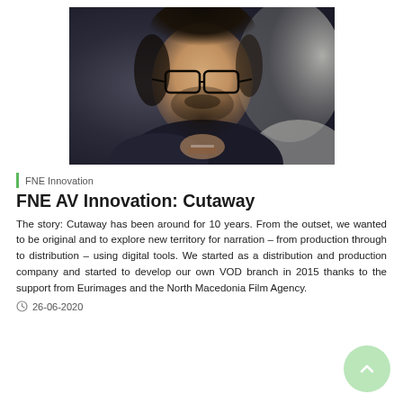[Figure (photo): Close-up photo of a man with dark curly hair, beard, and black-rimmed glasses, wearing a dark jacket, looking thoughtful with hand near chin. Blurred background with light-colored shapes.]
FNE Innovation
FNE AV Innovation: Cutaway
The story: Cutaway has been around for 10 years. From the outset, we wanted to be original and to explore new territory for narration – from production through to distribution – using digital tools. We started as a distribution and production company and started to develop our own VOD branch in 2015 thanks to the support from Eurimages and the North Macedonia Film Agency.
26-06-2020